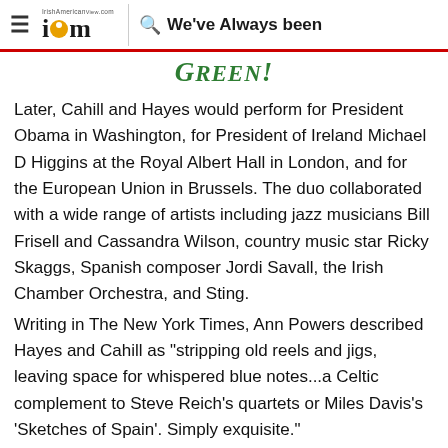≡  IrishAmerican.com logo  🔍  We've Always been
Green!
Later, Cahill and Hayes would perform for President Obama in Washington, for President of Ireland Michael D Higgins at the Royal Albert Hall in London, and for the European Union in Brussels. The duo collaborated with a wide range of artists including jazz musicians Bill Frisell and Cassandra Wilson, country music star Ricky Skaggs, Spanish composer Jordi Savall, the Irish Chamber Orchestra, and Sting.
Writing in The New York Times, Ann Powers described Hayes and Cahill as "stripping old reels and jigs, leaving space for whispered blue notes...a Celtic complement to Steve Reich's quartets or Miles Davis's 'Sketches of Spain'. Simply exquisite."